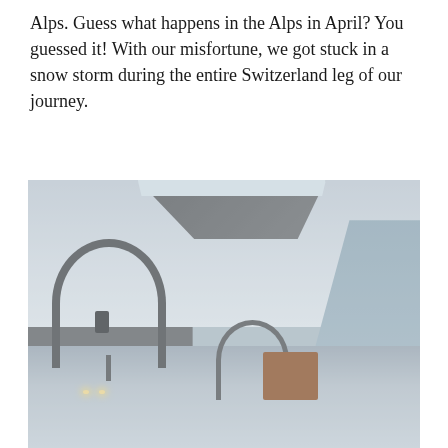Alps. Guess what happens in the Alps in April? You guessed it! With our misfortune, we got stuck in a snow storm during the entire Switzerland leg of our journey.
[Figure (photo): A photograph taken from inside a vehicle showing a mountain road through the Swiss Alps during a heavy snowstorm. There are tunnel arches visible on the left side of the road, a truck ahead on the right, vehicles with headlights on, snow-covered trees, and thick fog/snow obscuring visibility.]